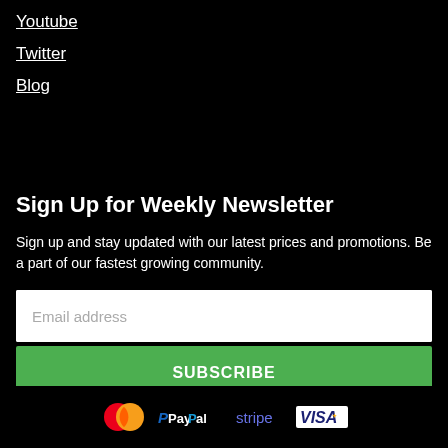Youtube
Twitter
Blog
Sign Up for Weekly Newsletter
Sign up and stay updated with our latest prices and promotions. Be a part of our fastest growing community.
Email address
SUBSCRIBE
[Figure (logo): Payment logos: MasterCard, PayPal, stripe, VISA]